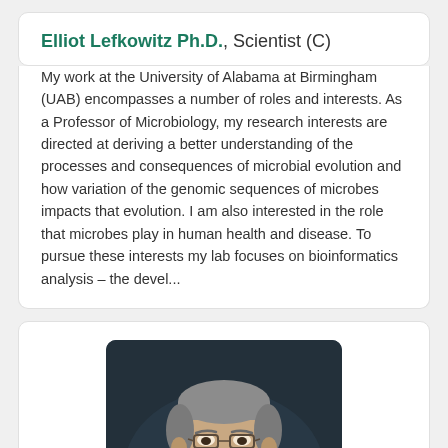Elliot Lefkowitz Ph.D., Scientist (C)
My work at the University of Alabama at Birmingham (UAB) encompasses a number of roles and interests. As a Professor of Microbiology, my research interests are directed at deriving a better understanding of the processes and consequences of microbial evolution and how variation of the genomic sequences of microbes impacts that evolution. I am also interested in the role that microbes play in human health and disease. To pursue these interests my lab focuses on bioinformatics analysis – the devel...
[Figure (photo): Professional headshot of Elliot Lefkowitz Ph.D., an older man with glasses, gray hair, and a gray beard/mustache, wearing a white shirt, photographed against a dark background.]